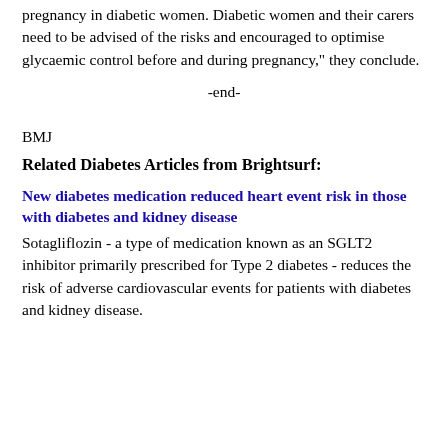pregnancy in diabetic women. Diabetic women and their carers need to be advised of the risks and encouraged to optimise glycaemic control before and during pregnancy," they conclude.
-end-
BMJ
Related Diabetes Articles from Brightsurf:
New diabetes medication reduced heart event risk in those with diabetes and kidney disease
Sotagliflozin - a type of medication known as an SGLT2 inhibitor primarily prescribed for Type 2 diabetes - reduces the risk of adverse cardiovascular events for patients with diabetes and kidney disease.